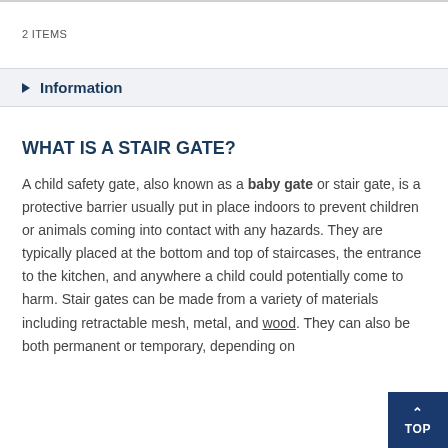2 ITEMS
Information
WHAT IS A STAIR GATE?
A child safety gate, also known as a baby gate or stair gate, is a protective barrier usually put in place indoors to prevent children or animals coming into contact with any hazards. They are typically placed at the bottom and top of staircases, the entrance to the kitchen, and anywhere a child could potentially come to harm. Stair gates can be made from a variety of materials including retractable mesh, metal, and wood. They can also be both permanent or temporary, depending on